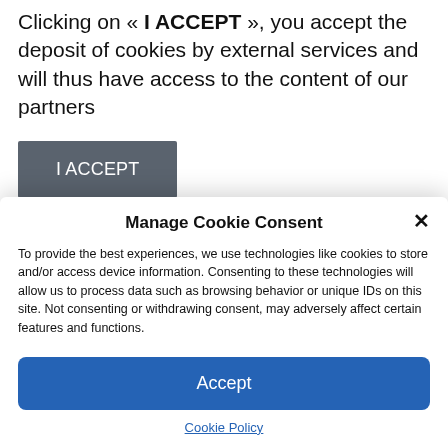Clicking on « I ACCEPT », you accept the deposit of cookies by external services and will thus have access to the content of our partners
I ACCEPT
Manage Cookie Consent
To provide the best experiences, we use technologies like cookies to store and/or access device information. Consenting to these technologies will allow us to process data such as browsing behavior or unique IDs on this site. Not consenting or withdrawing consent, may adversely affect certain features and functions.
Accept
Cookie Policy